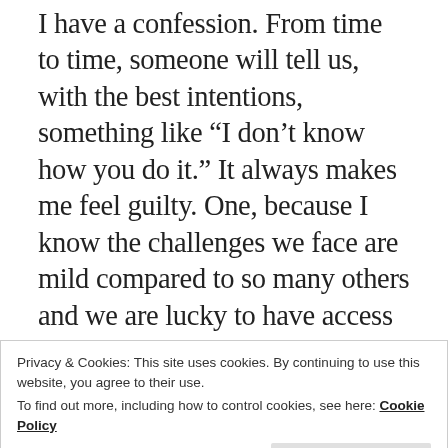I have a confession. From time to time, someone will tell us, with the best intentions, something like “I don’t know how you do it.” It always makes me feel guilty. One, because I know the challenges we face are mild compared to so many others and we are lucky to have access to the resources that help mitigate those challenges. But more so because I don’t think there’s anything exceptional about the way we parent either of our children. Sometimes we do a great job. Sometimes we make mistakes. Sometimes we go to great lengths to make our son or daughter happy. Is that a burden? No. It’s parenting.
Privacy & Cookies: This site uses cookies. By continuing to use this website, you agree to their use.
To find out more, including how to control cookies, see here: Cookie Policy
what’s important, celebrate triumphs of any size,